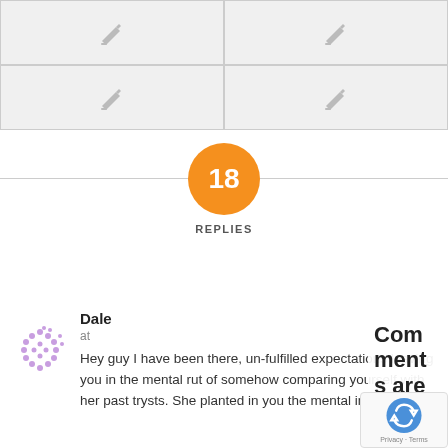[Figure (other): 2x2 grid of image placeholder cells with pencil icons on gray backgrounds]
[Figure (infographic): Orange circle badge showing the number 18 with label REPLIES below, centered on a horizontal divider line]
Dale
at
Hey guy I have been there, un-fulfilled expectations leaving you in the mental rut of somehow comparing yourself with her past trysts. She planted in you the mental images of
Comments are closed.
[Figure (logo): reCAPTCHA widget with Privacy - Terms text]